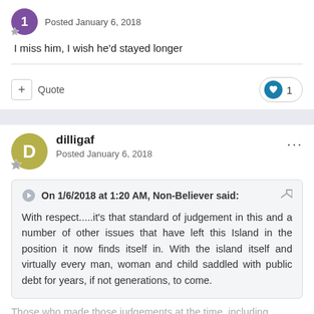Posted January 6, 2018
I miss him, I wish he'd stayed longer
Quote  ♥ 1
dilligaf
Posted January 6, 2018
On 1/6/2018 at 1:20 AM, Non-Believer said:
With respect.....it's that standard of judgement in this and a number of other issues that have left this Island in the position it now finds itself in. With the island itself and virtually every man, woman and child saddled with public debt for years, if not generations, to come.
Those who made those judgements at the time, including